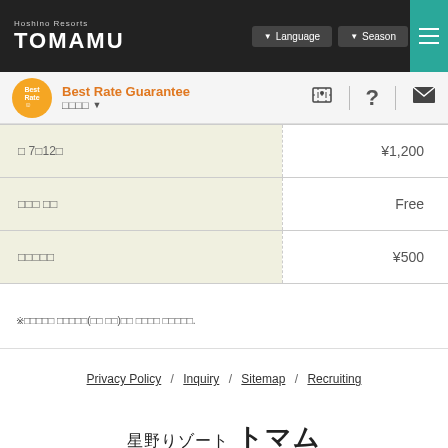Hoshino Resorts TOMAMU | Language | Season
Best Rate Guarantee
|  |  |
| --- | --- |
| □ 7□12□ | ¥1,200 |
| □□□ □□ | Free |
| □□□□□ | ¥500 |
※□□□□□ □□□□□(□□ □□)□□ □□□□ □□□□□.
Privacy Policy / Inquiry / Sitemap / Recruiting
星野りゾート トマム